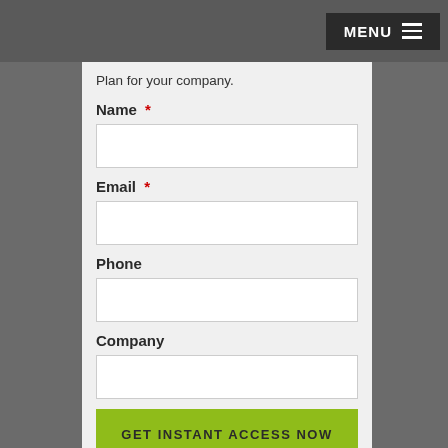MENU ≡
Plan for your company.
Name *
Email *
Phone
Company
GET INSTANT ACCESS NOW